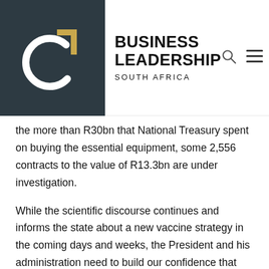Business Leadership South Africa
the more than R30bn that National Treasury spent on buying the essential equipment, some 2,556 contracts to the value of R13.3bn are under investigation.
While the scientific discourse continues and informs the state about a new vaccine strategy in the coming days and weeks, the President and his administration need to build our confidence that corruption will not be tolerated and that there will be consequences. The National Prosecuting Authority that is now fully staffed at senior level at least needs to act and be seen to be doing so. It's not enough to see only party disciplinary hearings happening into the axed Gauteng Health MEC, Bandile